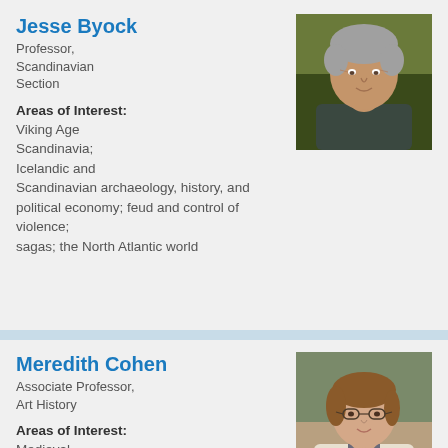Jesse Byock
Professor, Scandinavian Section
[Figure (photo): Headshot photo of Jesse Byock, a man with grey wavy hair wearing a dark jacket, outdoors with green/yellow foliage background]
Areas of Interest:
Viking Age Scandinavia; Icelandic and Scandinavian archaeology, history, and political economy; feud and control of violence; sagas; the North Atlantic world
Meredith Cohen
Associate Professor, Art History
[Figure (photo): Headshot photo of Meredith Cohen, a woman with brown hair wearing glasses and a light blazer, outdoors with blurred building and foliage background]
Areas of Interest:
Medieval Europe, archaeology of buildings, production